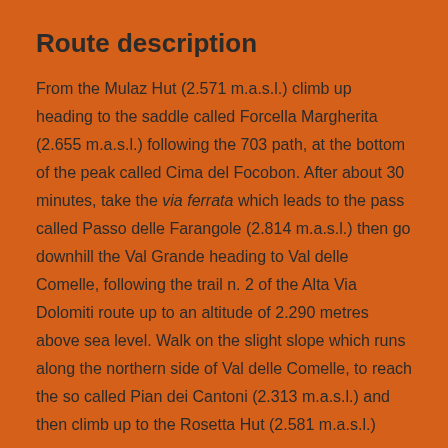Route description
From the Mulaz Hut (2.571 m.a.s.l.) climb up heading to the saddle called Forcella Margherita (2.655 m.a.s.l.) following the 703 path, at the bottom of the peak called Cima del Focobon. After about 30 minutes, take the via ferrata which leads to the pass called Passo delle Farangole (2.814 m.a.s.l.) then go downhill the Val Grande heading to Val delle Comelle, following the trail n. 2 of the Alta Via Dolomiti route up to an altitude of 2.290 metres above sea level. Walk on the slight slope which runs along the northern side of Val delle Comelle, to reach the so called Pian dei Cantoni (2.313 m.a.s.l.) and then climb up to the Rosetta Hut (2.581 m.a.s.l.)